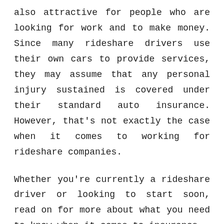also attractive for people who are looking for work and to make money. Since many rideshare drivers use their own cars to provide services, they may assume that any personal injury sustained is covered under their standard auto insurance. However, that's not exactly the case when it comes to working for rideshare companies.

Whether you're currently a rideshare driver or looking to start soon, read on for more about what you need to know when it comes to insurance.